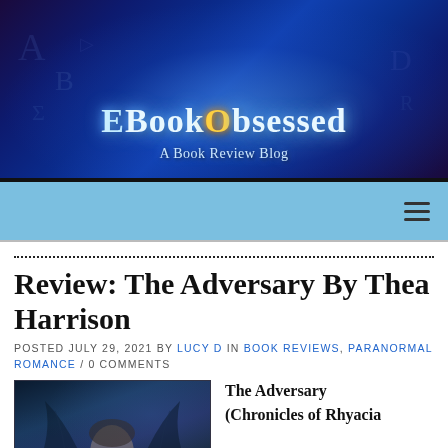[Figure (illustration): EBookObsessed blog banner: dark blue/purple fantasy background with glowing magical letters, a woman with a wolf reading a glowing tablet on the left, a castle glowing in the center-background, a dragon on the right, and a woman in purple dress on the far right. Large stylized text reads 'EBookObsessed' with a glowing orange 'O', and subtitle 'A Book Review Blog'.]
EBookObsessed — A Book Review Blog (navigation bar with hamburger menu)
Review: The Adversary By Thea Harrison
POSTED JULY 29, 2021 BY LUCY D IN BOOK REVIEWS, PARANORMAL ROMANCE / 0 COMMENTS
[Figure (photo): Book cover for The Adversary — dark atmospheric cover showing a young man's face among dark dragon wings against a stormy blue background.]
The Adversary (Chronicles of Rhyacia